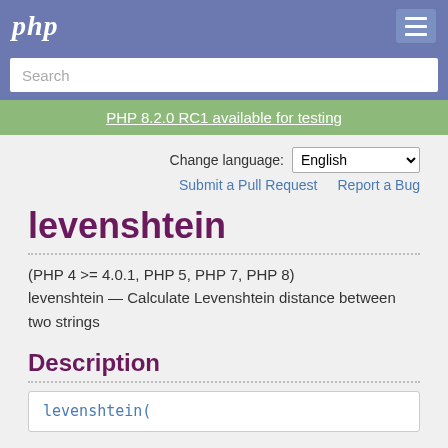php
Search
PHP 8.2.0 RC1 available for testing
Change language: English
Submit a Pull Request   Report a Bug
levenshtein
(PHP 4 >= 4.0.1, PHP 5, PHP 7, PHP 8)
levenshtein — Calculate Levenshtein distance between two strings
Description
levenshtein(